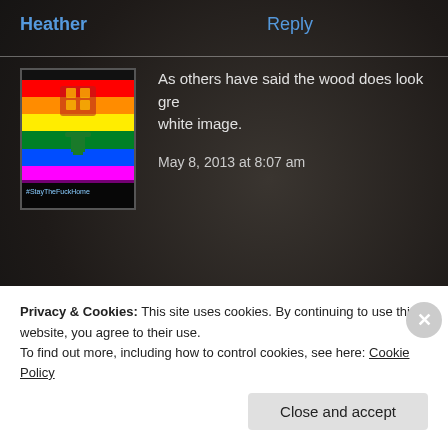Heather
Reply
[Figure (illustration): Rainbow pride flag with hashtag #StayTheFuckHome text at bottom, profile avatar image]
As others have said the wood does look gre... white image.
May 8, 2013 at 8:07 am
benrowef64
Reply
Privacy & Cookies: This site uses cookies. By continuing to use this website, you agree to their use.
To find out more, including how to control cookies, see here: Cookie Policy
Close and accept